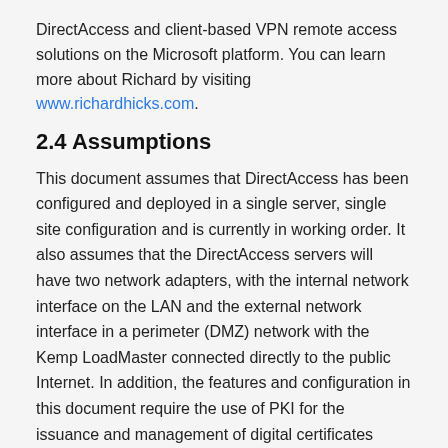DirectAccess and client-based VPN remote access solutions on the Microsoft platform. You can learn more about Richard by visiting www.richardhicks.com.
2.4 Assumptions
This document assumes that DirectAccess has been configured and deployed in a single server, single site configuration and is currently in working order. It also assumes that the DirectAccess servers will have two network adapters, with the internal network interface on the LAN and the external network interface in a perimeter (DMZ) network with the Kemp LoadMaster connected directly to the public Internet. In addition, the features and configuration in this document require the use of PKI for the issuance and management of digital certificates required for DirectAccess functionality.